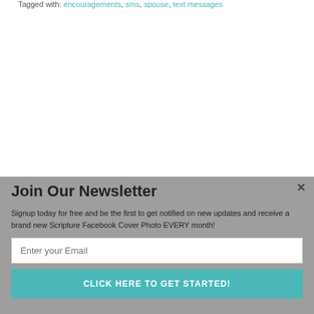Tagged with: encouragements, sms, spouse, text messages
Join Our Newsletter
Signup today for free and be the first to get notified on new updates and receive a brand new Scripture Facebook Cover Photo EVERY month!
Enter your Email
CLICK HERE TO GET STARTED!